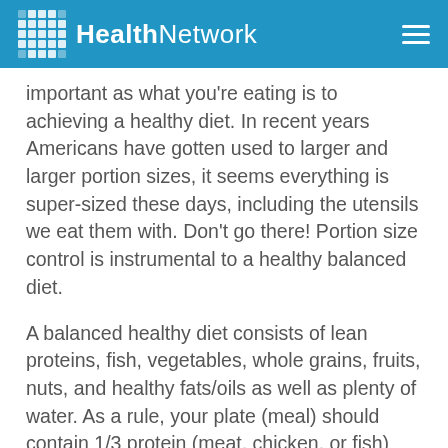HealthNetwork
important as what you’re eating is to achieving a healthy diet. In recent years Americans have gotten used to larger and larger portion sizes, it seems everything is super-sized these days, including the utensils we eat them with. Don’t go there! Portion size control is instrumental to a healthy balanced diet.
A balanced healthy diet consists of lean proteins, fish, vegetables, whole grains, fruits, nuts, and healthy fats/oils as well as plenty of water. As a rule, your plate (meal) should contain 1/3 protein (meat, chicken, or fish) and 2/3 vegetables, fruits, whole grains and healthy fats.